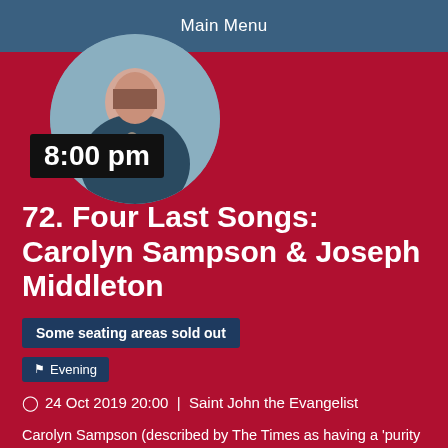Main Menu
[Figure (photo): Circular portrait photo of a woman (Carolyn Sampson) against a light background]
8:00 pm
72. Four Last Songs: Carolyn Sampson & Joseph Middleton
Some seating areas sold out
Evening
24 Oct 2019 20:00 | Saint John the Evangelist
Carolyn Sampson (described by The Times as having a 'purity of tone matched by her dramatic ability to inhabit the spirit of each song in the cycle as though it were a perfectly contained world') and regular duo partner Joseph Middleton ('the cream of the new generation') perform songs by Haydn (Arianna a Naxos), the young Schubert and Gustav Mahler. After their intimate